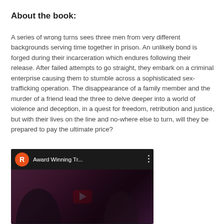About the book:
A series of wrong turns sees three men from very different backgrounds serving time together in prison. An unlikely bond is forged during their incarceration which endures following their release. After failed attempts to go straight, they embark on a criminal enterprise causing them to stumble across a sophisticated sex-trafficking operation. The disappearance of a family member and the murder of a friend lead the three to delve deeper into a world of violence and deception, in a quest for freedom, retribution and justice, but with their lives on the line and no-where else to turn, will they be prepared to pay the ultimate price?
[Figure (screenshot): YouTube video thumbnail showing 'Award Winning Tr...' with a dark scene of people and a YouTube play button overlay. Channel avatar is an orange circle with letter R.]